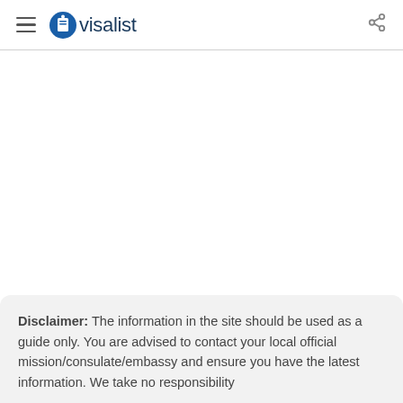≡ visalist
Disclaimer: The information in the site should be used as a guide only. You are advised to contact your local official mission/consulate/embassy and ensure you have the latest information. We take no responsibility